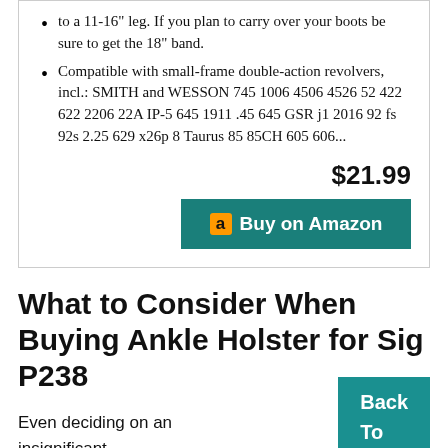to a 11-16" leg. If you plan to carry over your boots be sure to get the 18" band.
Compatible with small-frame double-action revolvers, incl.: SMITH and WESSON 745 1006 4506 4526 52 422 622 2206 22A IP-5 645 1911 .45 645 GSR j1 2016 92 fs 92s 2.25 629 x26p 8 Taurus 85 85CH 605 606...
$21.99
[Figure (other): Buy on Amazon button with Amazon logo]
What to Consider When Buying Ankle Holster for Sig P238
Even deciding on an insignificant make you feel like choosing between the red
[Figure (other): Back To Top button]